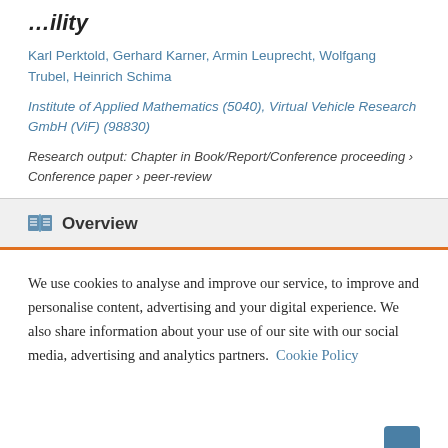…ility
Karl Perktold, Gerhard Karner, Armin Leuprecht, Wolfgang Trubel, Heinrich Schima
Institute of Applied Mathematics (5040), Virtual Vehicle Research GmbH (ViF) (98830)
Research output: Chapter in Book/Report/Conference proceeding › Conference paper › peer-review
Overview
We use cookies to analyse and improve our service, to improve and personalise content, advertising and your digital experience. We also share information about your use of our site with our social media, advertising and analytics partners.  Cookie Policy